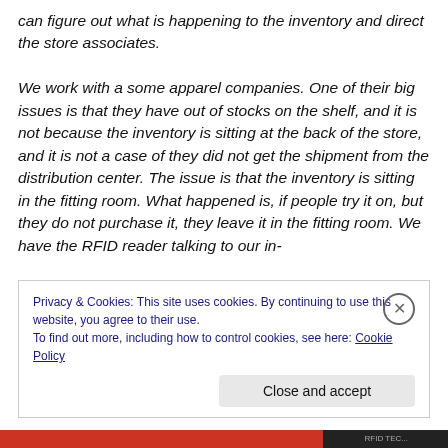can figure out what is happening to the inventory and direct the store associates.

We work with a some apparel companies. One of their big issues is that they have out of stocks on the shelf, and it is not because the inventory is sitting at the back of the store, and it is not a case of they did not get the shipment from the distribution center. The issue is that the inventory is sitting in the fitting room. What happened is, if people try it on, but they do not purchase it, they leave it in the fitting room. We have the RFID reader talking to our in-
Privacy & Cookies: This site uses cookies. By continuing to use this website, you agree to their use.
To find out more, including how to control cookies, see here: Cookie Policy

Close and accept